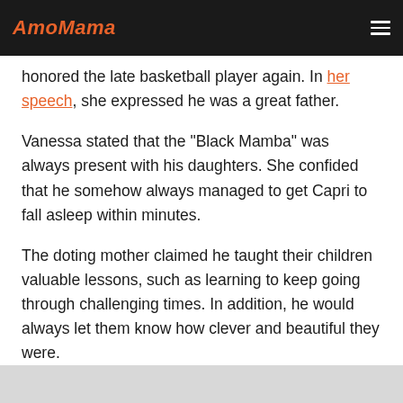AmoMama
honored the late basketball player again. In her speech, she expressed he was a great father.
Vanessa stated that the "Black Mamba" was always present with his daughters. She confided that he somehow always managed to get Capri to fall asleep within minutes.
The doting mother claimed he taught their children valuable lessons, such as learning to keep going through challenging times. In addition, he would always let them know how clever and beautiful they were.